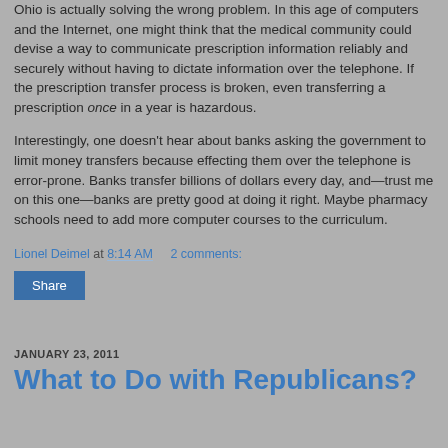Ohio is actually solving the wrong problem. In this age of computers and the Internet, one might think that the medical community could devise a way to communicate prescription information reliably and securely without having to dictate information over the telephone. If the prescription transfer process is broken, even transferring a prescription once in a year is hazardous.

Interestingly, one doesn't hear about banks asking the government to limit money transfers because effecting them over the telephone is error-prone. Banks transfer billions of dollars every day, and—trust me on this one—banks are pretty good at doing it right. Maybe pharmacy schools need to add more computer courses to the curriculum.
Lionel Deimel at 8:14 AM   2 comments:
Share
JANUARY 23, 2011
What to Do with Republicans?